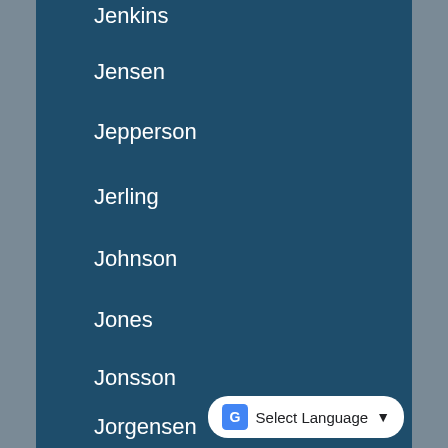Jenkins
Jensen
Jepperson
Jerling
Johnson
Jones
Jonsson
Jorgensen
Kanno